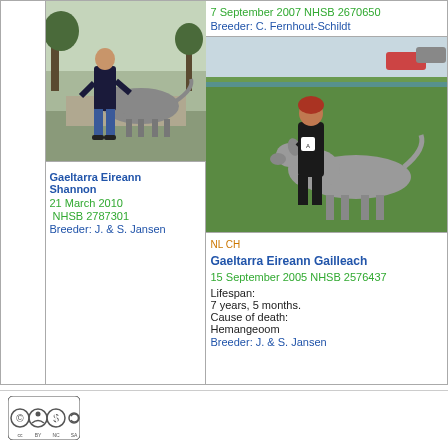[Figure (photo): Man standing with a large grey Irish Wolfhound dog on a path, trees in background]
7 September 2007 NHSB 2670650
Breeder: C. Fernhout-Schildt
[Figure (photo): Woman in black posing with a large grey Irish Wolfhound dog on green grass outdoors]
Gaeltarra Eireann Shannon
21 March 2010 NHSB 2787301
Breeder: J. & S. Jansen
NL CH
Gaeltarra Eireann Gailleach
15 September 2005 NHSB 2576437
Lifespan:
7 years, 5 months.
Cause of death:
Hemangeoom
Breeder: J. & S. Jansen
[Figure (logo): Creative Commons BY-NC-SA license icon]